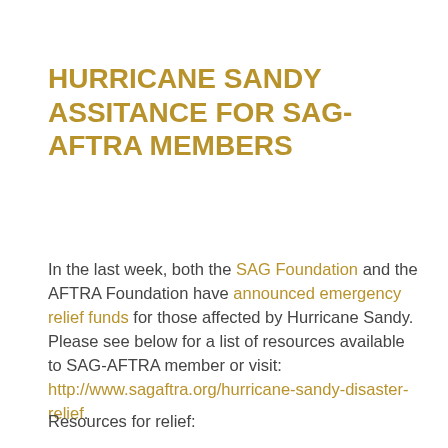HURRICANE SANDY ASSITANCE FOR SAG-AFTRA MEMBERS
In the last week, both the SAG Foundation and the AFTRA Foundation have announced emergency relief funds for those affected by Hurricane Sandy. Please see below for a list of resources available to SAG-AFTRA member or visit: http://www.sagaftra.org/hurricane-sandy-disaster-relief.
Resources for relief: